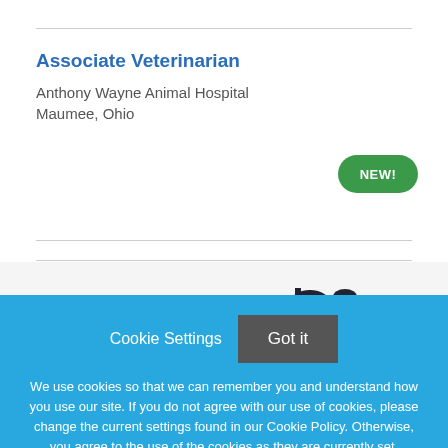Associate Veterinarian
Anthony Wayne Animal Hospital
Maumee, Ohio
[Figure (other): Green pill-shaped badge with text NEW!]
[Figure (photo): Partial image visible at the bottom of the white content area, appears to show a bird or animal silhouette]
Cookie Settings   Got it
We use cookies so that we can remember you and understand how you use our site. If you do not agree with our use of cookies, please change the current settings found in our Cookie Policy. Otherwise, you agree to the use of the cookies as they are currently set.